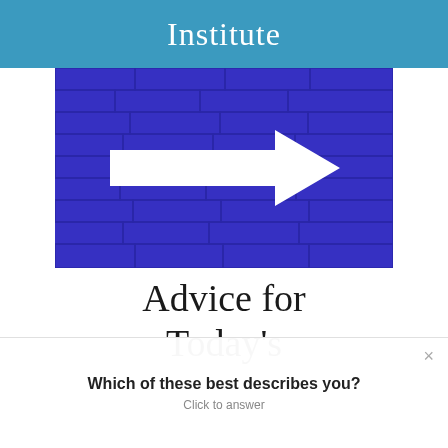Institute
[Figure (photo): Photo of a blue painted brick wall with a large white arrow painted on it pointing to the right]
Advice for Today's
Which of these best describes you?
Click to answer